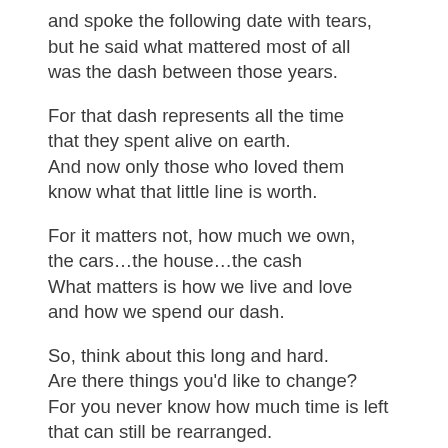and spoke the following date with tears,
but he said what mattered most of all
was the dash between those years.
For that dash represents all the time
that they spent alive on earth.
And now only those who loved them
know what that little line is worth.
For it matters not, how much we own,
the cars…the house…the cash
What matters is how we live and love
and how we spend our dash.
So, think about this long and hard.
Are there things you'd like to change?
For you never know how much time is left
that can still be rearranged.
If we could just slow down enough
to consider what's true and real
and always try to understand
the way other people feel.
And be less quick to anger